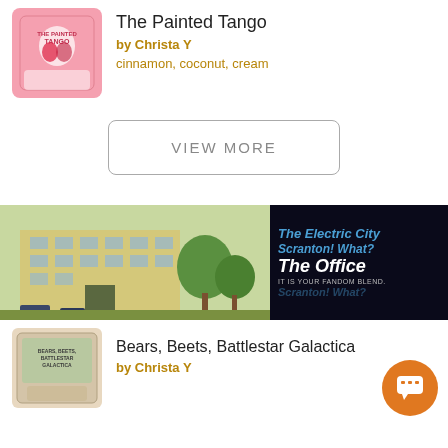[Figure (photo): Product image of The Painted Tango tea tin with illustrated design on pink background]
The Painted Tango
by Christa Y
cinnamon, coconut, cream
VIEW MORE
[Figure (illustration): Banner showing a watercolor painting of a building with trees on the left, and dark background with text 'The Electric City Scranton! What? The Office IT IS YOUR FANDOM BLEND.' on the right]
[Figure (photo): Product image of Bears, Beets, Battlestar Galactica tea tin]
Bears, Beets, Battlestar Galactica
by Christa Y